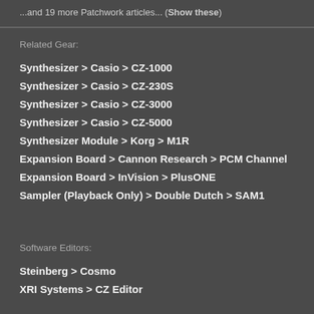...and 19 more Patchwork articles... (Show these)
Related Gear:
Synthesizer > Casio > CZ-1000
Synthesizer > Casio > CZ-230S
Synthesizer > Casio > CZ-3000
Synthesizer > Casio > CZ-5000
Synthesizer Module > Korg > M1R
Expansion Board > Cannon Research > PCM Channel
Expansion Board > InVision > PlusONE
Sampler (Playback Only) > Double Dutch > SAM1
Software Editors:
Steinberg > Cosmo
XRI Systems > CZ Editor